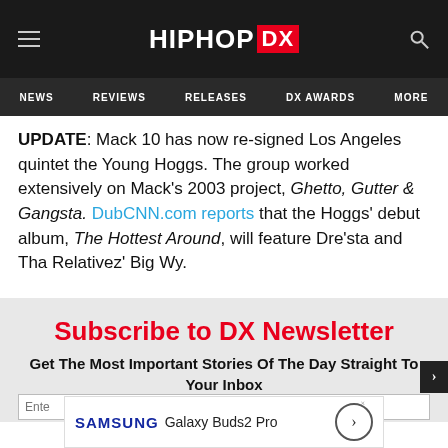HipHopDX — NEWS | REVIEWS | RELEASES | DX AWARDS | MORE
UPDATE: Mack 10 has now re-signed Los Angeles quintet the Young Hoggs. The group worked extensively on Mack's 2003 project, Ghetto, Gutter & Gangsta. DubCNN.com reports that the Hoggs' debut album, The Hottest Around, will feature Dre'sta and Tha Relativez' Big Wy.
Subscribe to DX Newsletter
Get The Most Important Stories Of The Day Straight To Your Inbox
[Figure (other): Samsung Galaxy Buds2 Pro advertisement banner]